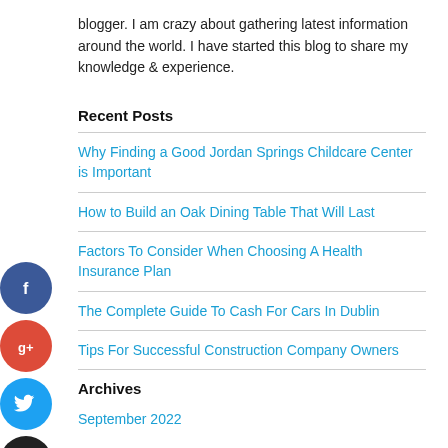blogger. I am crazy about gathering latest information around the world. I have started this blog to share my knowledge & experience.
Recent Posts
Why Finding a Good Jordan Springs Childcare Center is Important
How to Build an Oak Dining Table That Will Last
Factors To Consider When Choosing A Health Insurance Plan
The Complete Guide To Cash For Cars In Dublin
Tips For Successful Construction Company Owners
Archives
September 2022